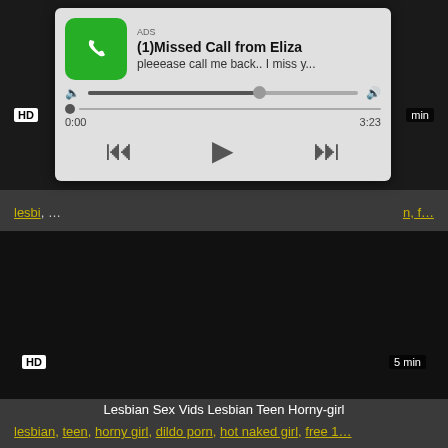[Figure (screenshot): Ad overlay showing a missed call notification with audio player controls. Title: '(1)Missed Call from Eliza', subtitle: 'pleeease call me back.. I miss y...', labeled 'ADS'. Shows play controls and seek bar with time 0:00 to 3:23.]
HD
5 min
Lesbian Sex Vids Lesbian Teen Horny-girl
lesbian, teen, horny girl, dildo porn, hot naked girl, free 1...